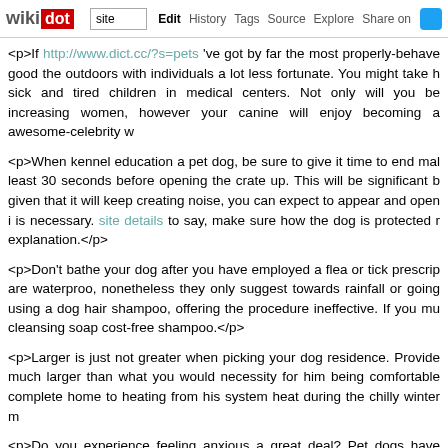wikidot | site | Edit | History | Tags | Source | Explore | Share on [twitter]
<p>If http://www.dict.cc/?s=pets 've got by far the most properly-behaved good the outdoors with individuals a lot less fortunate. You might take h sick and tired children in medical centers. Not only will you be increasing women, however your canine will enjoy becoming a awesome-celebrity w
<p>When kennel education a pet dog, be sure to give it time to end mak least 30 seconds before opening the crate up. This will be significant b given that it will keep creating noise, you can expect to appear and open i is necessary. site details to say, make sure how the dog is protected ra explanation.</p>
<p>Don't bathe your dog after you have employed a flea or tick prescrip are waterproo, nonetheless they only suggest towards rainfall or going using a dog hair shampoo, offering the procedure ineffective. If you mu cleansing soap cost-free shampoo.</p>
<p>Larger is just not greater when picking your dog residence. Provide much larger than what you would necessity for him being comfortable complete home to heating from his system heat during the chilly winter m
<p>Do you experience feeling anxious a great deal? Pet dogs have pressure levels and assist you to feel relax. People that personal canine not to. Puppies could also enable you to get happiness and luxury should
Reference: https://buffetdress21.asblog.cc/2018/11/16/think-just-like-a-do
<p>If you want to take care of your pet, you need to discover how to con to be distressed? Think about what you may choose https://lawvercd6.ashlog.cc/2018/11/18/tricks-and-tips-to-be-the-most-eff